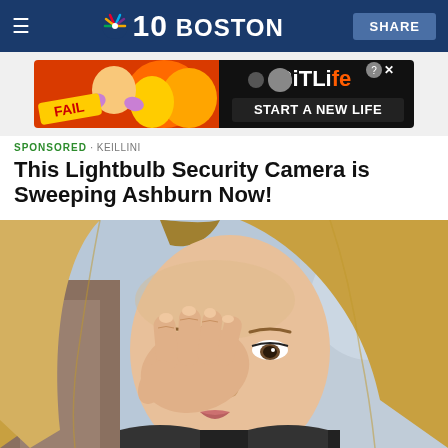NBC 10 BOSTON  SHARE
[Figure (illustration): BitLife advertisement banner with cartoon character and flames. Text: FAIL, BitLife, START A NEW LIFE]
SPONSORED · KEILLINI
This Lightbulb Security Camera is Sweeping Ashburn Now!
[Figure (photo): Blonde woman with hand near her eye, looking concerned, bokeh background]